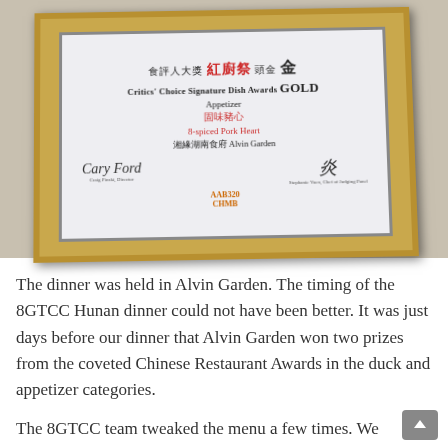[Figure (photo): A framed award certificate in a gold frame showing 'Critics' Choice Signature Dish Awards GOLD Appetizer, 8-spiced Pork Heart, 湘緣湖南食府 Alvin Garden' with Chinese text, two signatures, and a CHMB logo/code, placed against a grey background.]
The dinner was held in Alvin Garden. The timing of the 8GTCC Hunan dinner could not have been better. It was just days before our dinner that Alvin Garden won two prizes from the coveted Chinese Restaurant Awards in the duck and appetizer categories.
The 8GTCC team tweaked the menu a few times. We